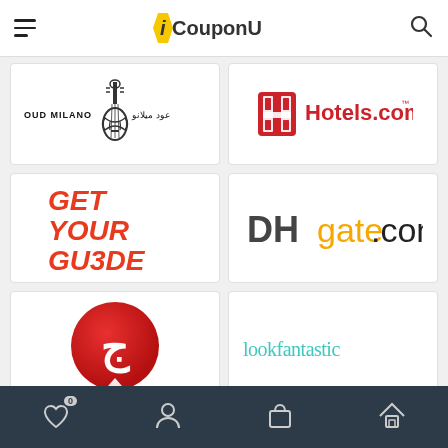iCouponU
[Figure (logo): Oud Milano logo with Arabic text and cello instrument graphic]
[Figure (logo): Hotels.com logo with red H emblem and red text]
[Figure (logo): GetYourGuide logo in red bold italic text]
[Figure (logo): DHgate.com logo with DH in bold dark and gate.com in yellow and black]
[Figure (logo): Red circle logo with white Arabic question mark symbol (Jawab/Jahez)]
[Figure (logo): lookfantastic logo in teal/cyan thin text]